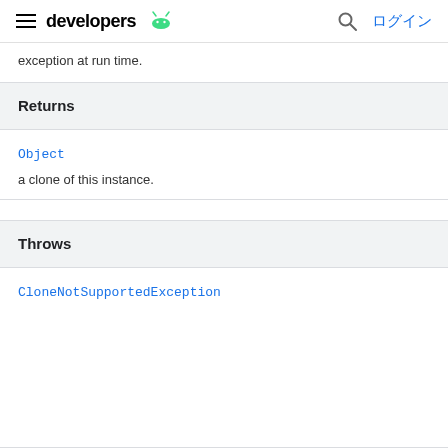developers | ログイン
exception at run time.
| Returns |
| --- |
| Object |
| a clone of this instance. |
| Throws |
| --- |
| CloneNotSupportedException |